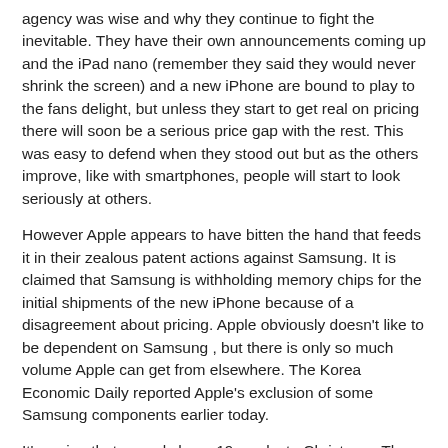agency was wise and why they continue to fight the inevitable. They have their own announcements coming up and the iPad nano (remember they said they would never shrink the screen) and a new iPhone are bound to play to the fans delight, but unless they start to get real on pricing there will soon be a serious price gap with the rest. This was easy to defend when they stood out but as the others improve, like with smartphones, people will start to look seriously at others.
However Apple appears to have bitten the hand that feeds it in their zealous patent actions against Samsung. It is claimed that Samsung is withholding memory chips for the initial shipments of the new iPhone because of a disagreement about pricing. Apple obviously doesn't like to be dependent on Samsung , but there is only so much volume Apple can get from elsewhere. The Korea Economic Daily reported Apple's exclusion of some Samsung components earlier today.
It's a sign that we only have 19 weeks to Christmas. The cards are starting to appear in the shops and despite the potential Indian summer we are starting to think about presents.
Martyn Daniels at Friday, September 07, 2012   No comments:
Wednesday, September 05, 2012
'False Sale' without 'First Sale'?